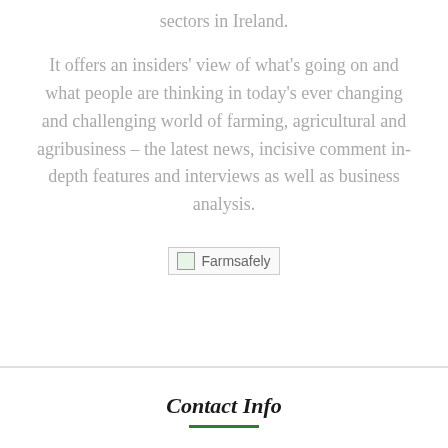sectors in Ireland.
It offers an insiders' view of what's going on and what people are thinking in today's ever changing and challenging world of farming, agricultural and agribusiness – the latest news, incisive comment in-depth features and interviews as well as business analysis.
[Figure (photo): Broken image placeholder with alt text 'Farmsafely']
Contact Info